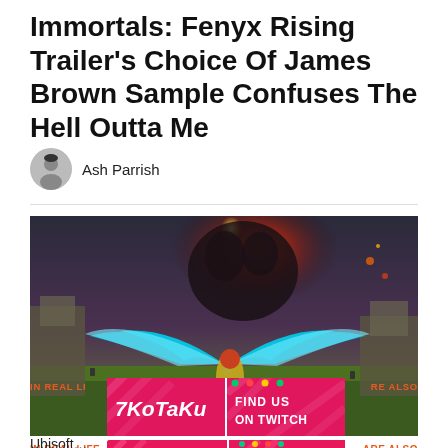Immortals: Fenyx Rising Trailer's Choice Of James Brown Sample Confuses The Hell Outta Me
Ash Parrish
[Figure (screenshot): Game screenshot of Immortals Fenyx Rising showing a character with large blue wings facing a massive red fiery monster in a colorful mythological landscape]
[Figure (logo): Kotaku advertisement banner: Kotaku logo on pink background with 'FIND US ON TWITCH' text]
IN REAL LIFE ... ARE ALSO
Ubisof...